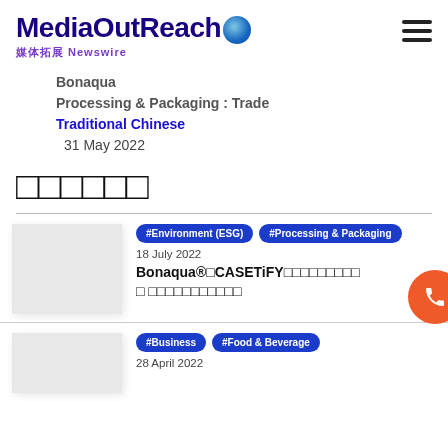MediaOutReach 媒体拓展 Newswire
Bonaqua
Processing & Packaging : Trade
Traditional Chinese
31 May 2022
□□□□□□
#Environment (ESG)  #Processing & Packaging
18 July 2022
Bonaqua®□CASETiFY□□□□□□□□□ □□□□□□□□□□□
#Business  #Food & Beverage
28 April 2022